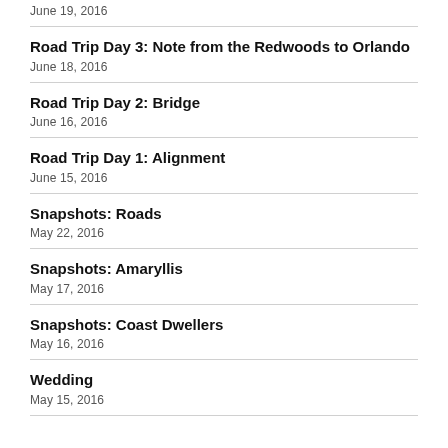June 19, 2016
Road Trip Day 3: Note from the Redwoods to Orlando
June 18, 2016
Road Trip Day 2: Bridge
June 16, 2016
Road Trip Day 1: Alignment
June 15, 2016
Snapshots: Roads
May 22, 2016
Snapshots: Amaryllis
May 17, 2016
Snapshots: Coast Dwellers
May 16, 2016
Wedding
May 15, 2016